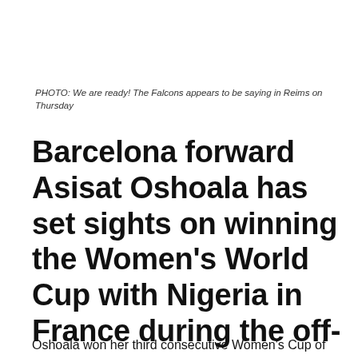PHOTO: We are ready! The Falcons appears to be saying in Reims on Thursday
Barcelona forward Asisat Oshoala has set sights on winning the Women's World Cup with Nigeria in France during the off-season.
Oshoala won her third consecutive Women's Cup of Nation